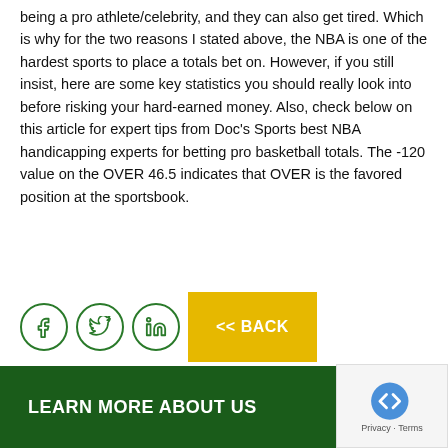being a pro athlete/celebrity, and they can also get tired. Which is why for the two reasons I stated above, the NBA is one of the hardest sports to place a totals bet on. However, if you still insist, here are some key statistics you should really look into before risking your hard-earned money. Also, check below on this article for expert tips from Doc's Sports best NBA handicapping experts for betting pro basketball totals. The -120 value on the OVER 46.5 indicates that OVER is the favored position at the sportsbook.
[Figure (other): Social sharing icons (Facebook, Twitter, LinkedIn) and a yellow Back button with '<< BACK' text]
LEARN MORE ABOUT US